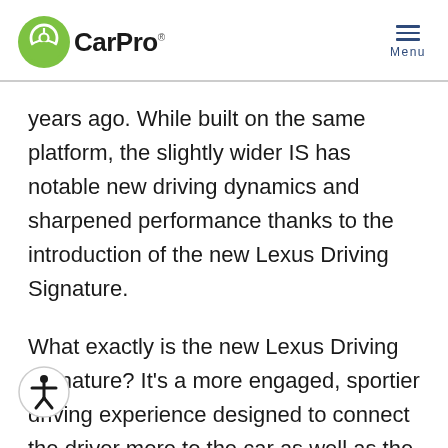CarPro
years ago. While built on the same platform, the slightly wider IS has notable new driving dynamics and sharpened performance thanks to the introduction of the new Lexus Driving Signature.
What exactly is the new Lexus Driving Signature? It's a more engaged, sportier driving experience designed to connect the driver more to the car as well as the road. It's the result of a combination of rigidity, chassis